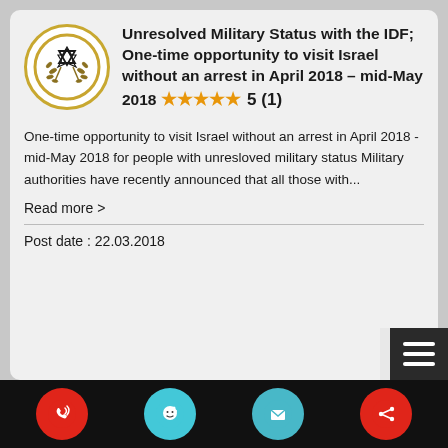Unresolved Military Status with the IDF; One-time opportunity to visit Israel without an arrest in April 2018 – mid-May 2018 ★★★★★ 5 (1)
One-time opportunity to visit Israel without an arrest in April 2018 - mid-May 2018 for people with unresloved military status Military authorities have recently announced that all those with...
Read more >
Post date : 22.03.2018
[Figure (logo): IDF (Israel Defense Forces) logo — gold star and olive branch emblem in a circle with gold border]
Phone button | Waze button | Email button | Share button